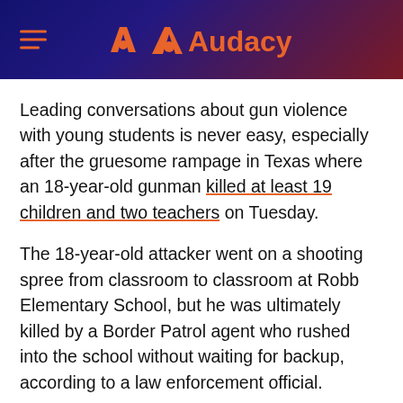Audacy
Leading conversations about gun violence with young students is never easy, especially after the gruesome rampage in Texas where an 18-year-old gunman killed at least 19 children and two teachers on Tuesday.
The 18-year-old attacker went on a shooting spree from classroom to classroom at Robb Elementary School, but he was ultimately killed by a Border Patrol agent who rushed into the school without waiting for backup, according to a law enforcement official.